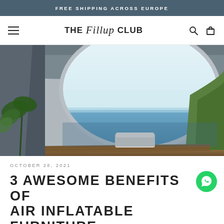FREE SHIPPING ACROSS EUROPE
THE Fillup CLUB
[Figure (photo): Modern architectural interior with a large curved oval window opening overlooking the sea, with a daybed on a wooden deck and tropical plants in foreground.]
OCTOBER 28, 2021
3 AWESOME BENEFITS OF AIR INFLATABLE FURNITURE